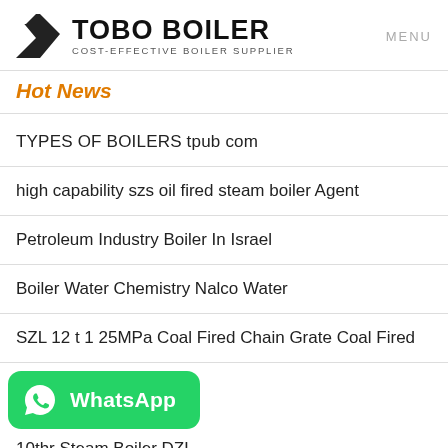TOBO BOILER — COST-EFFECTIVE BOILER SUPPLIER | MENU
Hot News
TYPES OF BOILERS tpub com
high capability szs oil fired steam boiler Agent
Petroleum Industry Boiler In Israel
Boiler Water Chemistry Nalco Water
SZL 12 t 1 25MPa Coal Fired Chain Grate Coal Fired
[Figure (other): WhatsApp contact button with green background and WhatsApp logo icon]
10thr Steam Boiler DZL